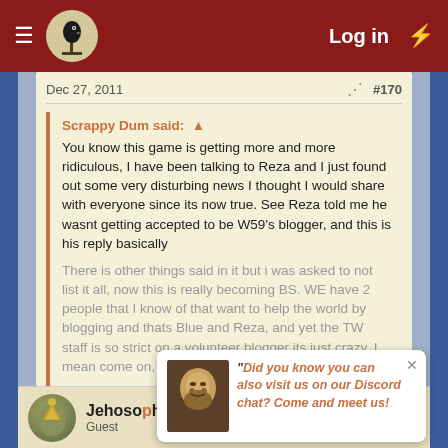Log in
Dec 27, 2011  #170
Scrappy Dum said: ↑

You know this game is getting more and more ridiculous, I have been talking to Reza and I just found out some very disturbing news I thought I would share with everyone since its now true. See Reza told me he wasnt getting accepted to be W59's blogger, and this is his reply basically

There is other things said in it but i was asked to not list it all, now this is really becoming BS. WE have 2 people that I know of that want to help the world by blogging and thats Blue and Reza, and yet the TW staff is so strict on a volunteer blogger its just crazy. I mean come on, if thats all Reza has

Click to expand...
Please direct any complaints to me or Jehosophat. I have sent you a PM in regards to your complaint.
Thank you.
Jehosophat
Guest
"Did you know you can also visit us on our Discord chat? Come and meet us!